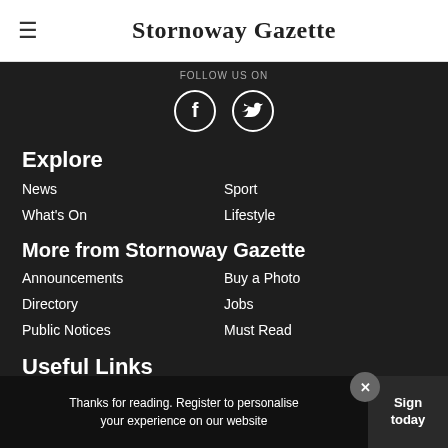Stornoway Gazette
[Figure (illustration): Partial 'Follow us on' text with Facebook and Twitter circular icon buttons on dark background]
Explore
News
Sport
What's On
Lifestyle
More from Stornoway Gazette
Announcements
Buy a Photo
Directory
Jobs
Public Notices
Must Read
Useful Links
Thanks for reading. Register to personalise your experience on our website